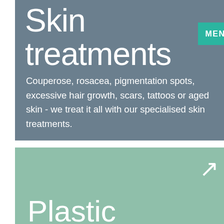Skin treatments
Couperose, rosacea, pigmentation spots, excessive hair growth, scars, tattoos or aged skin - we treat it all with our specialised skin treatments.
Plastic